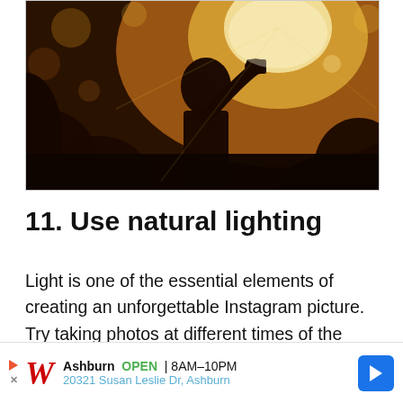[Figure (photo): A silhouetted person with hand raised against a warm golden-hour backlit outdoor scene with bokeh foliage background]
11. Use natural lighting
Light is one of the essential elements of creating an unforgettable Instagram picture. Try taking photos at different times of the day. Use the golden hour to make soft and romantic images or the blue hour or twilight to get a sense of mystery.
[Figure (other): Walgreens advertisement banner: Ashburn OPEN 8AM-10PM, 20321 Susan Leslie Dr, Ashburn]